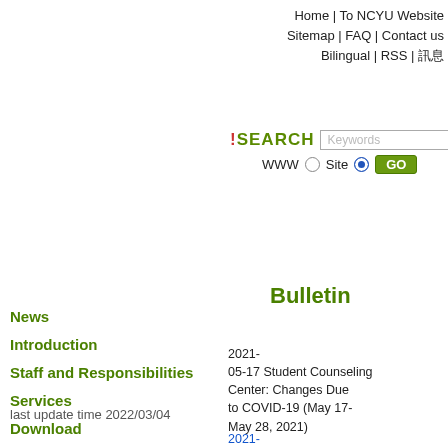Home | To NCYU Website
Sitemap | FAQ | Contact us
Bilingual | RSS | 訊息
SEARCH  Keywords
WWW ○ Site ● GO
News
Introduction
Staff and Responsibilities
Services
Download
Questions & Answer
last update time 2022/03/04
Bulletin
2021-05-17 Student Counseling Center: Changes Due to COVID-19 (May 17-May 28, 2021)  cou
2021-02-23 Welcome to join the International Student Support Group! PNG(3,277.86 KB) / PDF(3,834.76 KB)  cou